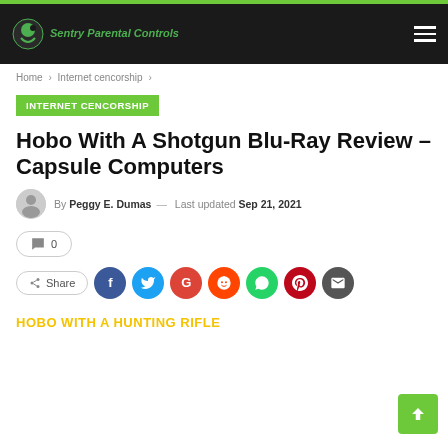Sentry Parental Controls
Home > Internet cencorship >
INTERNET CENCORSHIP
Hobo With A Shotgun Blu-Ray Review – Capsule Computers
By Peggy E. Dumas — Last updated Sep 21, 2021
0
Share
HOBO WITH A HUNTING RIFLE